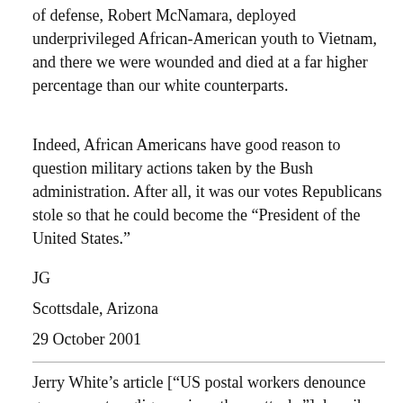of defense, Robert McNamara, deployed underprivileged African-American youth to Vietnam, and there we were wounded and died at a far higher percentage than our white counterparts.
Indeed, African Americans have good reason to question military actions taken by the Bush administration. After all, it was our votes Republicans stole so that he could become the “President of the United States.”
JG
Scottsdale, Arizona
29 October 2001
Jerry White’s article [“US postal workers denounce government negligence in anthrax attacks”] describes